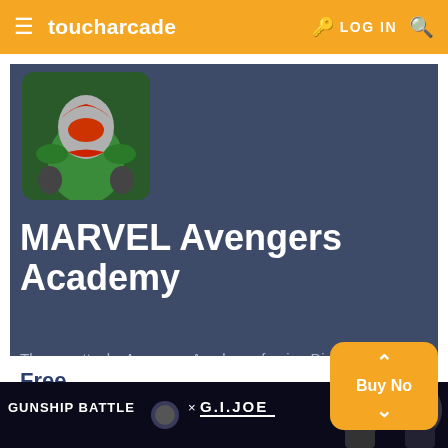toucharcade | LOG IN
[Figure (illustration): Game icon showing Ant-Man character in green and red costume on dark background]
MARVEL Avengers Academy
Thanos attacks Avengers Academy, forcing Director Nick Fury to unleash his secret weapons, and turn the campus into a hi...
Free
[Figure (illustration): Advertisement banner for Gunship Battle x G.I. Joe crossover with characters in armor]